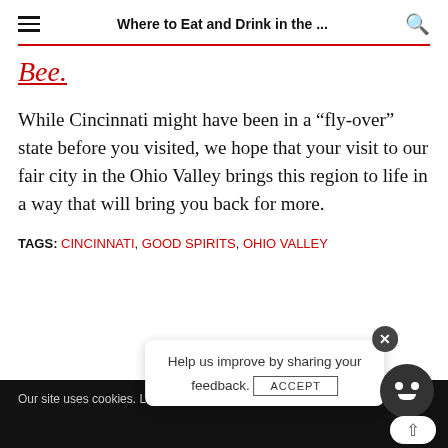Where to Eat and Drink in the ...
Bee.
While Cincinnati might have been in a “fly-over” state before you visited, we hope that your visit to our fair city in the Ohio Valley brings this region to life in a way that will bring you back for more.
TAGS: CINCINNATI, GOOD SPIRITS, OHIO VALLEY
Our site uses cookies. Lea... okie... ACCEPT